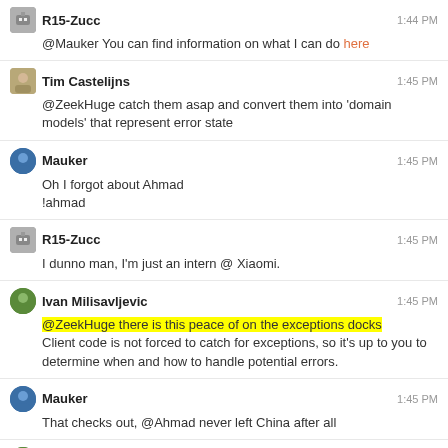R15-Zucc 1:44 PM
@Mauker You can find information on what I can do here
Tim Castelijns 1:45 PM
@ZeekHuge catch them asap and convert them into 'domain models' that represent error state
Mauker 1:45 PM
Oh I forgot about Ahmad
!ahmad
R15-Zucc 1:45 PM
I dunno man, I'm just an intern @ Xiaomi.
Ivan Milisavljevic 1:45 PM
@ZeekHuge there is this peace of on the exceptions docks
Client code is not forced to catch for exceptions, so it's up to you to determine when and how to handle potential errors.
Mauker 1:45 PM
That checks out, @Ahmad never left China after all
Ivan Milisavljevic 1:52 PM
@ZeekHuge related to that stackoverflow.com/questions/21358076/...
ballBreaker 1:53 PM
@Graeme It's awesome. Very monty python-esque